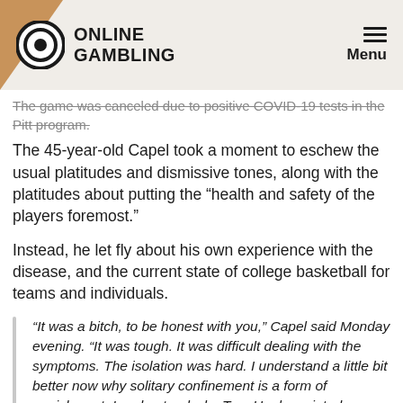ONLINE GAMBLING  Menu
The game was canceled due to positive COVID-19 tests in the Pitt program.
The 45-year-old Capel took a moment to eschew the usual platitudes and dismissive tones, along with the platitudes about putting the “health and safety of the players foremost.”
Instead, he let fly about his own experience with the disease, and the current state of college basketball for teams and individuals.
“It was a bitch, to be honest with you,” Capel said Monday evening. “It was tough. It was difficult dealing with the symptoms. The isolation was hard. I understand a little bit better now why solitary confinement is a form of punishment. I understand why Tom Hanks painted a volleyball and turned it into Wilson [in the 2000 film Cast Away] and why he lost his mind when Wilson went away. It’s difficult.”